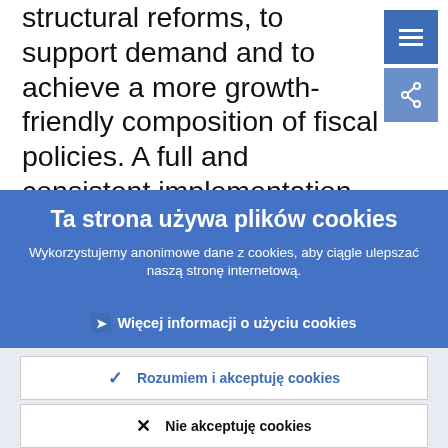structural reforms, to support demand and to achieve a more growth-friendly composition of fiscal policies. A full and consistent implementation of the euro area's existing fiscal and macroeconomic
Ta strona używa plików cookies
Wykorzystujemy anonimowe dane z cookies, aby ciągle ulepszać naszą stronę internetową.
Więcej informacji o użyciu cookies
Rozumiem i akceptuję cookies
Nie akceptuję cookies